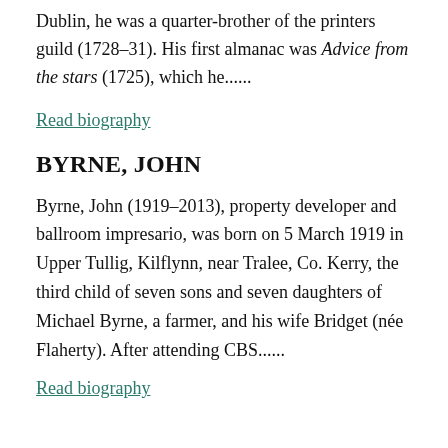Dublin, he was a quarter-brother of the printers guild (1728–31). His first almanac was Advice from the stars (1725), which he......
Read biography
BYRNE, JOHN
Byrne, John (1919–2013), property developer and ballroom impresario, was born on 5 March 1919 in Upper Tullig, Kilflynn, near Tralee, Co. Kerry, the third child of seven sons and seven daughters of Michael Byrne, a farmer, and his wife Bridget (née Flaherty). After attending CBS......
Read biography